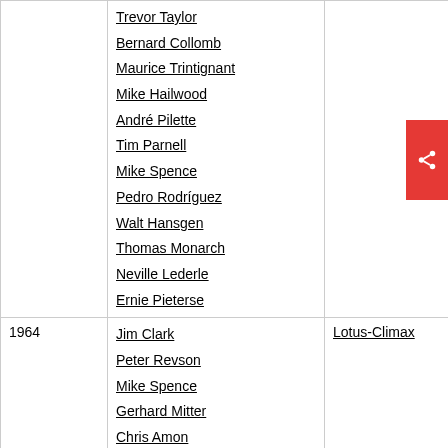| Year | Drivers | Car | Compare |
| --- | --- | --- | --- |
|  | Trevor Taylor
Bernard Collomb
Maurice Trintignant
Mike Hailwood
André Pilette
Tim Parnell
Mike Spence
Pedro Rodríguez
Walt Hansgen
Thomas Monarch
Neville Lederle
Ernie Pieterse |  |  |
| 1964 | Jim Clark
Peter Revson
Mike Spence
Gerhard Mitter
Chris Amon
Walt Hansgen
Moisés Solana | Lotus-Climax | vergelijk 1964 |
| 1966 | Mike Spence
Jim Clark
Pedro Rodríguez | Lotus-BRM | vergelijk 1966 |